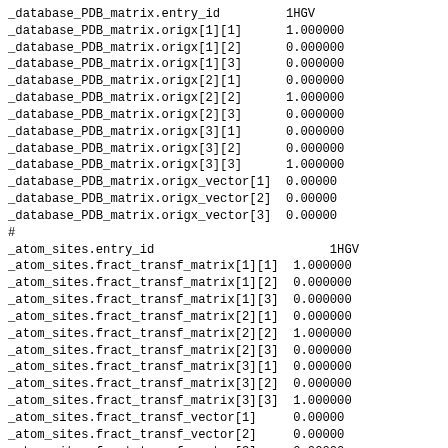_database_PDB_matrix.entry_id         1HGV
_database_PDB_matrix.origx[1][1]      1.000000
_database_PDB_matrix.origx[1][2]      0.000000
_database_PDB_matrix.origx[1][3]      0.000000
_database_PDB_matrix.origx[2][1]      0.000000
_database_PDB_matrix.origx[2][2]      1.000000
_database_PDB_matrix.origx[2][3]      0.000000
_database_PDB_matrix.origx[3][1]      0.000000
_database_PDB_matrix.origx[3][2]      0.000000
_database_PDB_matrix.origx[3][3]      1.000000
_database_PDB_matrix.origx_vector[1]  0.00000
_database_PDB_matrix.origx_vector[2]  0.00000
_database_PDB_matrix.origx_vector[3]  0.00000
#
_atom_sites.entry_id                        1HGV
_atom_sites.fract_transf_matrix[1][1]  1.000000
_atom_sites.fract_transf_matrix[1][2]  0.000000
_atom_sites.fract_transf_matrix[1][3]  0.000000
_atom_sites.fract_transf_matrix[2][1]  0.000000
_atom_sites.fract_transf_matrix[2][2]  1.000000
_atom_sites.fract_transf_matrix[2][3]  0.000000
_atom_sites.fract_transf_matrix[3][1]  0.000000
_atom_sites.fract_transf_matrix[3][2]  0.000000
_atom_sites.fract_transf_matrix[3][3]  1.000000
_atom_sites.fract_transf_vector[1]     0.00000
_atom_sites.fract_transf_vector[2]     0.00000
_atom_sites.fract_transf_vector[3]     0.00000
#
loop_
_atom_type.symbol